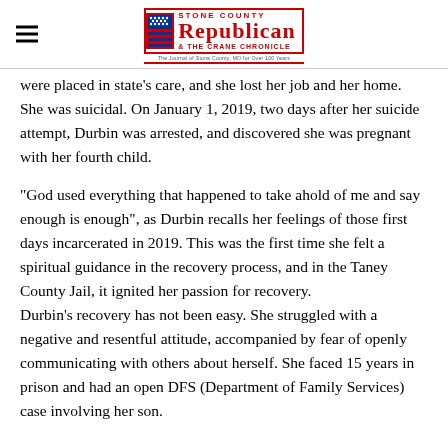Stone County Republican & The Crane Chronicle
were placed in state's care, and she lost her job and her home. She was suicidal. On January 1, 2019, two days after her suicide attempt, Durbin was arrested, and discovered she was pregnant with her fourth child.
“God used everything that happened to take ahold of me and say enough is enough”, as Durbin recalls her feelings of those first days incarcerated in 2019. This was the first time she felt a spiritual guidance in the recovery process, and in the Taney County Jail, it ignited her passion for recovery. Durbin’s recovery has not been easy. She struggled with a negative and resentful attitude, accompanied by fear of openly communicating with others about herself. She faced 15 years in prison and had an open DFS (Department of Family Services) case involving her son.